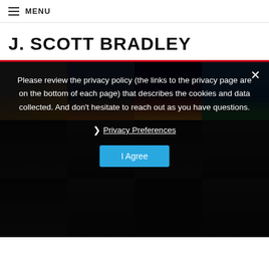≡ MENU
J. SCOTT BRADLEY
[Figure (photo): Grid of photography thumbnails — sunset/mast, palm trees at dusk, illuminated building at night, clock tower at night, and darker partially-visible rows below]
Please review the privacy policy (the links to the privacy page are on the bottom of each page) that describes the cookies and data collected. And don't hesitate to reach out as you have questions.
❯ Privacy Preferences
I Agree